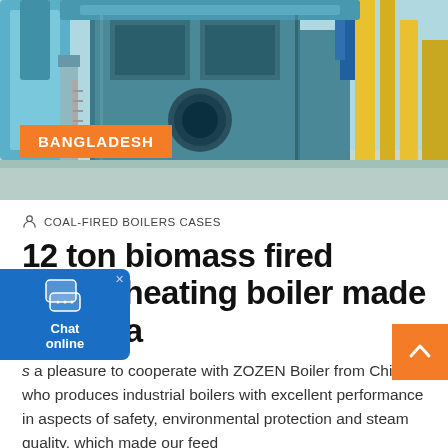[Figure (photo): Industrial boiler/steam system in a factory setting. Large teal/blue metal boiler units with yellow pipes visible on right and blue ductwork on left. Bangladesh orange badge overlay at bottom left.]
COAL-FIRED BOILERS CASES
12 ton biomass fired steam heating boiler made in China
It's a pleasure to cooperate with ZOZEN Boiler from China who produces industrial boilers with excellent performance in aspects of safety, environmental protection and steam quality, which made our feed